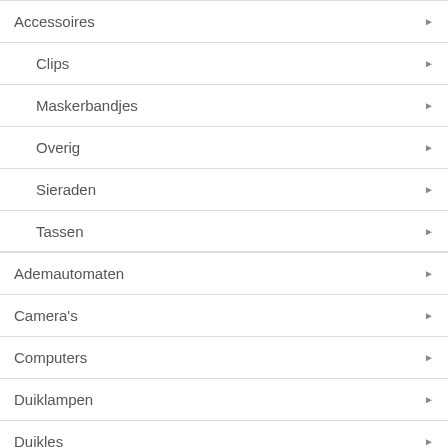Accessoires
Clips
Maskerbandjes
Overig
Sieraden
Tassen
Ademautomaten
Camera's
Computers
Duiklampen
Duikles
Duikpakken